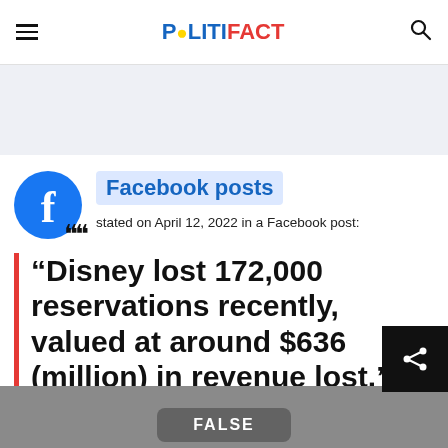POLITIFACT
[Figure (other): Advertisement banner, light blue-gray background]
Facebook posts
stated on April 12, 2022 in a Facebook post:
“Disney lost 172,000 reservations recently, valued at around $636 (million) in revenue lost.”